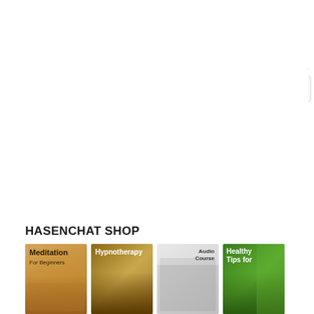[Figure (screenshot): White empty area at top of page, part of a web browser interface]
[Figure (other): Close button (X) in top right corner of a modal or dropdown overlay]
HASENCHAT SHOP
[Figure (other): Row of four product thumbnails: Meditation book cover (tan/gold background), Hypnotherapy cover (golden/brown background), Audio Course cover (gray with people), Healthy Tips cover (green background)]